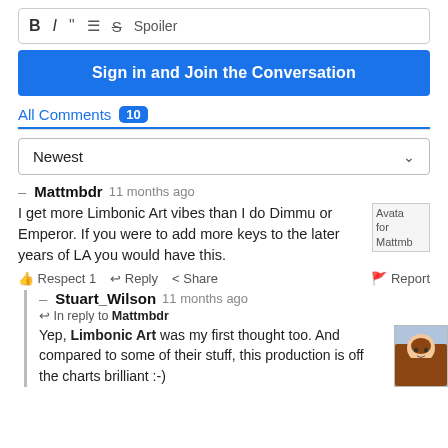[Figure (screenshot): Text editor toolbar with formatting icons: B (bold), I (italic), quotation marks, bullet list, strikethrough, and Spoiler label]
Sign in and Join the Conversation
All Comments 10
Newest (sort dropdown)
– Mattmbdr  11 months ago
I get more Limbonic Art vibes than I do Dimmu or Emperor. If you were to add more keys to the later years of LA you would have this.
👍 Respect 1  ↩ Reply  < Share  🚩 Report
– Stuart_Wilson  11 months ago
↩ In reply to Mattmbdr
Yep, Limbonic Art was my first thought too. And compared to some of their stuff, this production is off the charts brilliant :-)